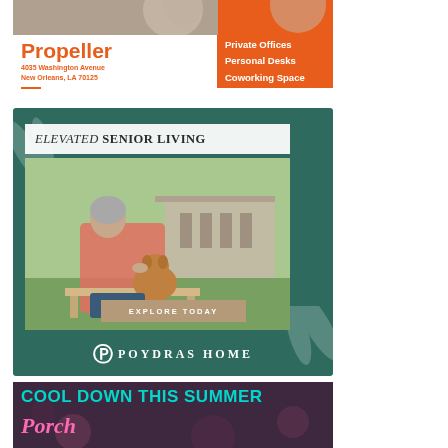[Figure (photo): Top portion of a Propeller coworking space advertisement. Shows a photo strip at top, then the Propeller logo/name in orange on white left side, address '4035 Washington Avenue, New Orleans, LA 70125', and orange right panel listing 'Private Offices, Personal Desks, Coworking Space'.]
[Figure (photo): Poydras Home senior living advertisement on dark teal background. White banner reads 'ELEVATED SENIOR LIVING'. Photo of smiling older woman with gray hair in pink sweater sitting on a bench holding a fluffy brown dog, with a columned building in the background. 'EXPLORE TODAY' button. Poydras Home logo with stylized P monogram at bottom.]
[Figure (photo): Bottom advertisement with dark blurred background. Text reads 'COOL DOWN THIS SUMMER' in teal/cyan bold uppercase letters, followed by cursive pink script text partially visible reading 'Porch'.]